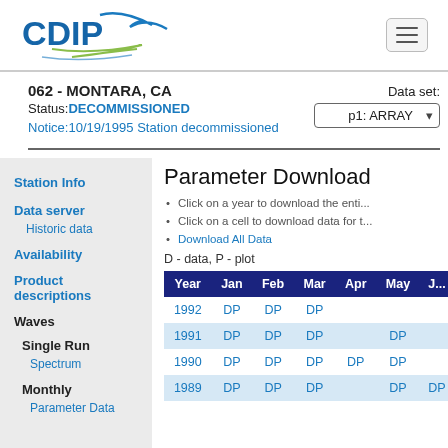CDIP (logo)
062 - MONTARA, CA
Status: DECOMMISSIONED
Notice: 10/19/1995 Station decommissioned
Data set: p1: ARRAY
Station Info
Data server
Historic data
Availability
Product descriptions
Waves
Single Run
Spectrum
Monthly
Parameter Data
Parameter Download
Click on a year to download the entire year's data
Click on a cell to download data for that month
Download All Data
D - data, P - plot
| Year | Jan | Feb | Mar | Apr | May | Jun |
| --- | --- | --- | --- | --- | --- | --- |
| 1992 | DP | DP | DP |  |  |  |
| 1991 | DP | DP | DP |  | DP |  |
| 1990 | DP | DP | DP | DP | DP |  |
| 1989 | DP | DP | DP |  | DP | DP |